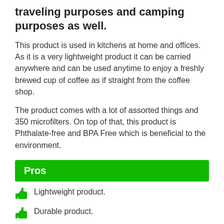traveling purposes and camping purposes as well.
This product is used in kitchens at home and offices. As it is a very lightweight product it can be carried anywhere and can be used anytime to enjoy a freshly brewed cup of coffee as if straight from the coffee shop.
The product comes with a lot of assorted things and 350 microfilters. On top of that, this product is Phthalate-free and BPA Free which is beneficial to the environment.
Pros
Lightweight product.
Durable product.
Phthalate and BPA-free.